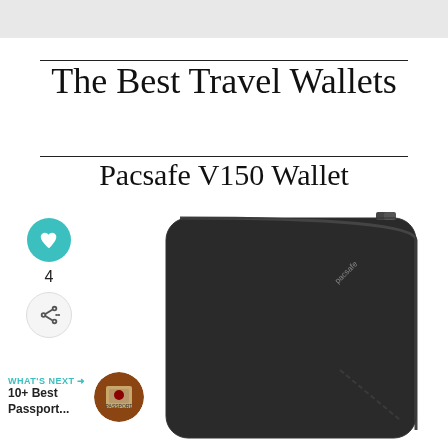[Figure (photo): Top gray banner area]
The Best Travel Wallets
Pacsafe V150 Wallet
[Figure (photo): Photo of a black Pacsafe V150 travel wallet with zipper closure and Pacsafe logo, shown at an angle from the front]
4
WHAT'S NEXT → 10+ Best Passport...